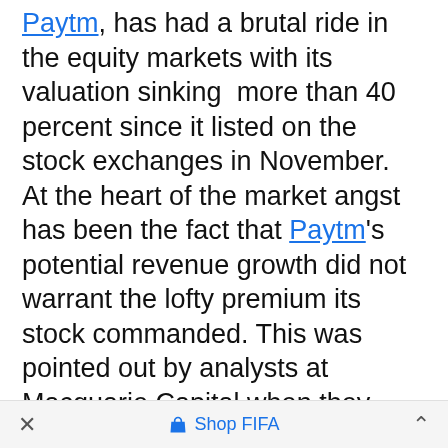Paytm, has had a brutal ride in the equity markets with its valuation sinking more than 40 percent since it listed on the stock exchanges in November. At the heart of the market angst has been the fact that Paytm's potential revenue growth did not warrant the lofty premium its stock commanded. This was pointed out by analysts at Macquarie Capital when they slashed the company's target price in a note in January. Macquarie has further slashed its target price for Paytm to Rs 700 now, citing costs towards employee stock options (ESOP).
Regulatory changes, along with the intense
× Shop FIFA ^